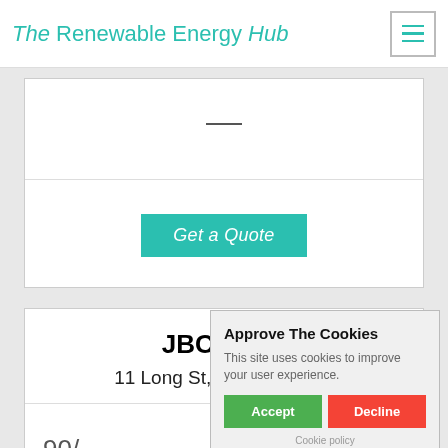The Renewable Energy Hub
[Figure (screenshot): Get a Quote button (teal/turquoise background, italic white text)]
JBC Solar
11 Long St,Athens, 37303
90/...
[Figure (other): Three empty/grey star rating icons]
[Figure (other): Empty checkbox square]
Approve The Cookies
This site uses cookies to improve your user experience.
Accept   Decline
Cookie policy